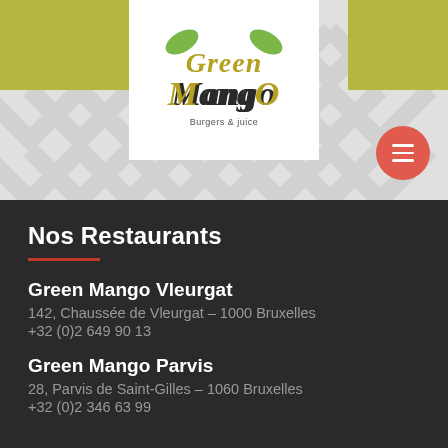[Figure (logo): Green Mango Burgers & Juice logo on white background with olive/khaki color bars and chevron patterned grey background. Red circular hamburger menu button in bottom right.]
Nos Restaurants
Green Mango Vleurgat
142, Chaussée de Vleurgat – 1000 Bruxelles
+32 (0)2 649 90 13
Green Mango Parvis
28, Parvis de Saint-Gilles – 1060 Bruxelles
+32 (0)2 346 63 99